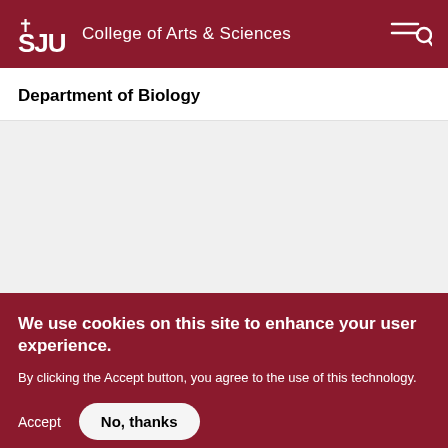SJU College of Arts & Sciences
Department of Biology
[Figure (other): Grey content area placeholder for page content]
We use cookies on this site to enhance your user experience.
By clicking the Accept button, you agree to the use of this technology.
Accept   No, thanks